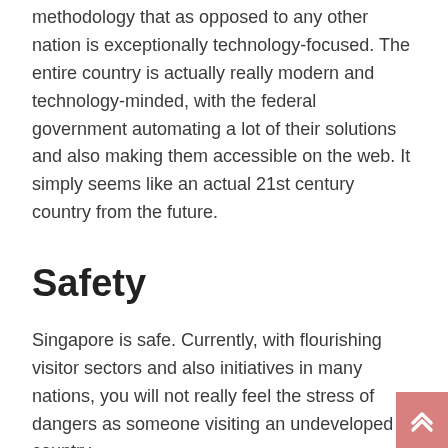methodology that as opposed to any other nation is exceptionally technology-focused. The entire country is actually really modern and technology-minded, with the federal government automating a lot of their solutions and also making them accessible on the web. It simply seems like an actual 21st century country from the future.
Safety
Singapore is safe. Currently, with flourishing visitor sectors and also initiatives in many nations, you will not really feel the stress of dangers as someone visiting an undeveloped country.
So what I'm stating is for all its downsides, Singapore is in fact an excellent location to reside in